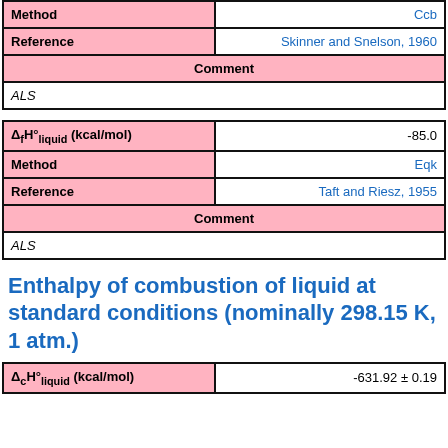| Method | Ccb |
| --- | --- |
| Method | Ccb |
| Reference | Skinner and Snelson, 1960 |
| Comment |  |
| ALS |  |
| Δ⁦f⁩H°liquid (kcal/mol) | -85.0 |
| Method | Eqk |
| Reference | Taft and Riesz, 1955 |
| Comment |  |
| ALS |  |
Enthalpy of combustion of liquid at standard conditions (nominally 298.15 K, 1 atm.)
| ΔcH°liquid (kcal/mol) | -631.92 ± 0.19 |